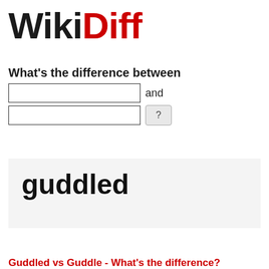[Figure (logo): WikiDiff logo with 'Wiki' in black bold and 'Diff' in red bold, large serif-style text]
What's the difference between
[Figure (screenshot): Two text input fields stacked, first row has input box and 'and' label, second row has input box and '?' button]
guddled
Guddled vs Guddle - What's the difference?